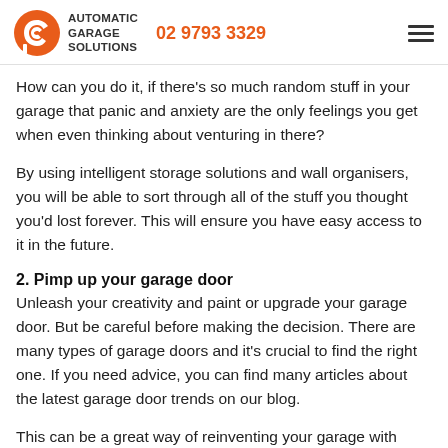AUTOMATIC GARAGE SOLUTIONS | 02 9793 3329
How can you do it, if there's so much random stuff in your garage that panic and anxiety are the only feelings you get when even thinking about venturing in there?
By using intelligent storage solutions and wall organisers, you will be able to sort through all of the stuff you thought you'd lost forever. This will ensure you have easy access to it in the future.
2. Pimp up your garage door
Unleash your creativity and paint or upgrade your garage door. But be careful before making the decision. There are many types of garage doors and it's crucial to find the right one. If you need advice, you can find many articles about the latest garage door trends on our blog.
This can be a great way of reinventing your garage with some real curb appeal. The best garage door styles don't have to